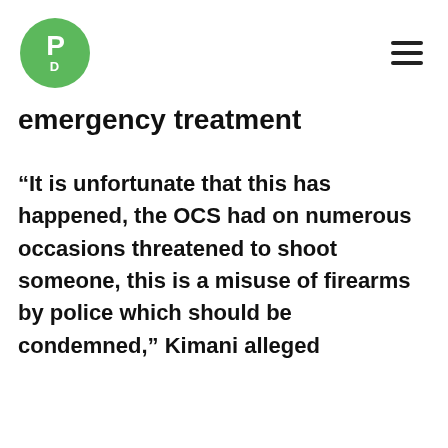PD logo and hamburger menu
emergency treatment
“It is unfortunate that this has happened, the OCS had on numerous occasions threatened to shoot someone, this is a misuse of firearms by police which should be condemned,” Kimani alleged
DCI
Nakuru
INTERESTING FOR YOU
[Figure (photo): Exterior of a commercial building with movie posters and billboards, including McDonald's sign, against a blue sky]